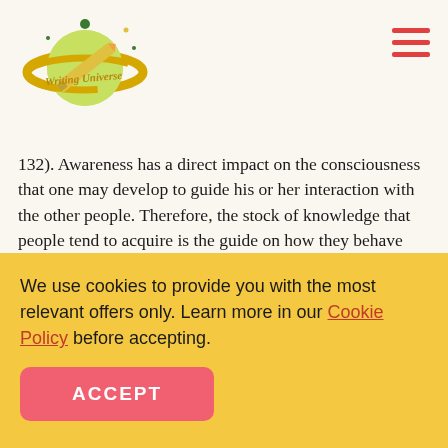[Figure (logo): Writing Universe logo — stylized planet with pencil and text 'Writing Universe']
132). Awareness has a direct impact on the consciousness that one may develop to guide his or her interaction with the other people. Therefore, the stock of knowledge that people tend to acquire is the guide on how they behave and how they forge social interactions with the other members of the society. The three pillars of the theory include the action that one makes owing to the knowledge acquired, the situation in which finds him or herself in and the reality. The theory can be applied with the view of the human
We use cookies to provide you with the most relevant offers only. Learn more in our Cookie Policy before accepting.
ACCEPT